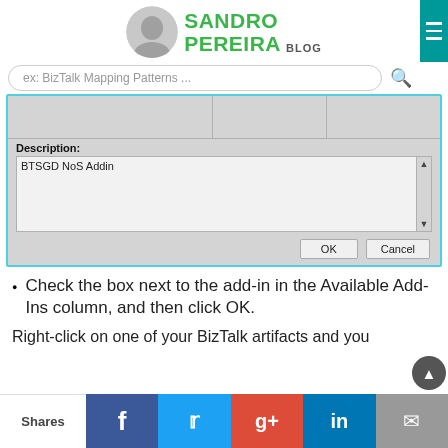SANDRO PEREIRA BLOG
[Figure (screenshot): Dialog box showing Description field with text 'BTSGD NoS Addin' and OK/Cancel buttons]
Check the box next to the add-in in the Available Add-Ins column, and then click OK.
Right-click on one of your BizTalk artifacts and you
Shares | Facebook | Twitter | Google+ | LinkedIn | Email